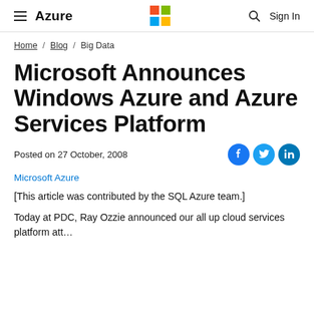≡ Azure | Microsoft Logo | 🔍 Sign In
Home / Blog / Big Data
Microsoft Announces Windows Azure and Azure Services Platform
Posted on 27 October, 2008
Microsoft Azure
[This article was contributed by the SQL Azure team.]
Today at PDC, Ray Ozzie announced our all up cloud services platform att…